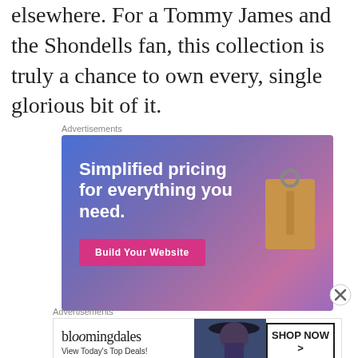elsewhere. For a Tommy James and the Shondells fan, this collection is truly a chance to own every, single glorious bit of it.
[Figure (other): Advertisement banner: 'Simplified pricing for everything you need.' with a pink 'Build Your Website' button and a tan price tag graphic on a blue-purple gradient background.]
[Figure (other): Bloomingdale's advertisement: 'View Today's Top Deals!' with a SHOP NOW > button and a photo of a woman in a wide-brim hat.]